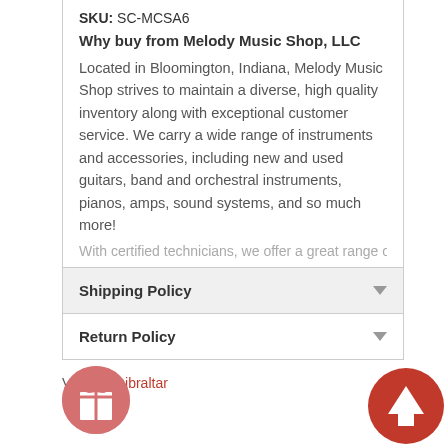SKU: SC-MCSA6
Why buy from Melody Music Shop, LLC
Located in Bloomington, Indiana, Melody Music Shop strives to maintain a diverse, high quality inventory along with exceptional customer service. We carry a wide range of instruments and accessories, including new and used guitars, band and orchestral instruments, pianos, amps, sound systems, and so much more!
With certified technicians, we offer a great range of
Shipping Policy
Return Policy
Vendor: Gibraltar
[Figure (illustration): Pink circular gift icon button at bottom left]
[Figure (illustration): Red circular up arrow icon button at bottom right]